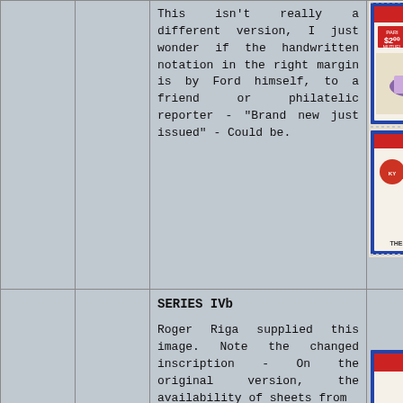This isn't really a different version, I just wonder if the handwritten notation in the right margin is by Ford himself, to a friend or philatelic reporter - "Brand new just issued" - Could be.
[Figure (photo): Partial view of Kentucky-themed philatelic stamps/cinderellas showing bourbon bottle, mint julep, horse racing scene with MRS. S. label and $2.00 price, with perforated border]
SERIES IVb

Roger Riga supplied this image. Note the changed inscription - On the original version, the availability of sheets from
[Figure (photo): Bottom partial stamp image showing REJECTED label with MRS. text visible]